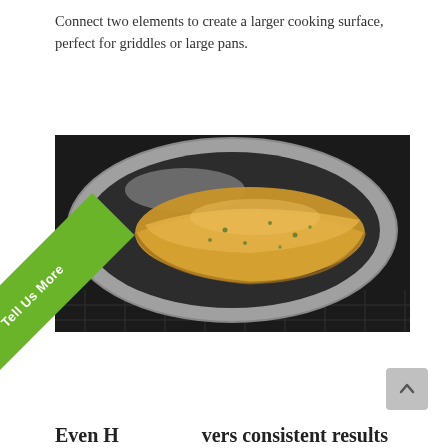Connect two elements to create a larger cooking surface, perfect for griddles or large pans.
[Figure (photo): A folded omelette in a stainless steel frying pan on a dark cooktop surface]
Even H[eating del]ivers consistent results